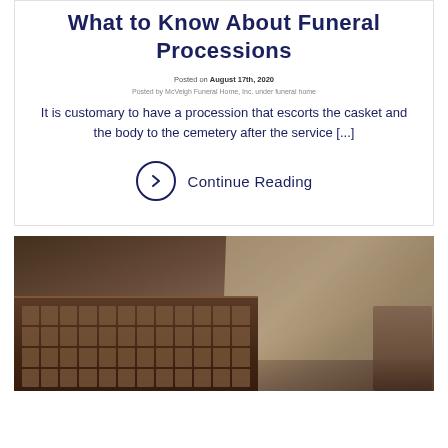What to Know About Funeral Processions
Posted on August 17th, 2020
Posted by McVeigh Funeral Home, Inc. under funeral home
It is customary to have a procession that escorts the casket and the body to the cemetery after the service [...]
Continue Reading
[Figure (photo): A laptop computer on a desk with a coffee mug, warm brown tones, blurred/bokeh background]